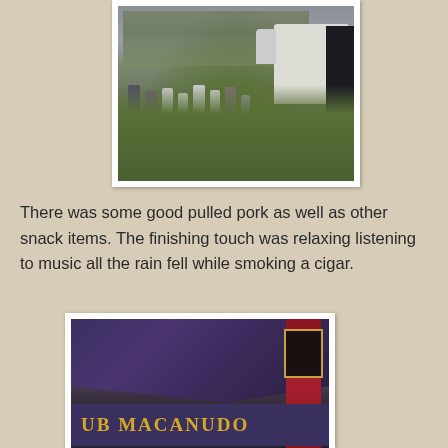[Figure (photo): Outdoor food truck event scene with people gathered on grass, white van/truck visible, people wearing white t-shirts, overcast/rainy day, dark figure on right edge]
There was some good pulled pork as well as other snack items. The finishing touch was relaxing listening to music all the rain fell while smoking a cigar.
[Figure (photo): Close-up of a purple tent canopy with 'UB MACANUDO' text on a banner below, red banner/flag visible on right side with gold border frame, trees in background]